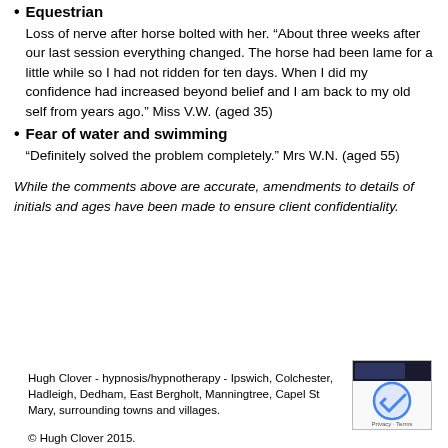Equestrian
Loss of nerve after horse bolted with her. “About three weeks after our last session everything changed. The horse had been lame for a little while so I had not ridden for ten days. When I did my confidence had increased beyond belief and I am back to my old self from years ago.” Miss V.W. (aged 35)
Fear of water and swimming
“Definitely solved the problem completely.” Mrs W.N. (aged 55)
While the comments above are accurate, amendments to details of initials and ages have been made to ensure client confidentiality.
Hugh Clover - hypnosis/hypnotherapy - Ipswich, Colchester, Hadleigh, Dedham, East Bergholt, Manningtree, Capel St Mary, surrounding towns and villages.
© Hugh Clover 2015.